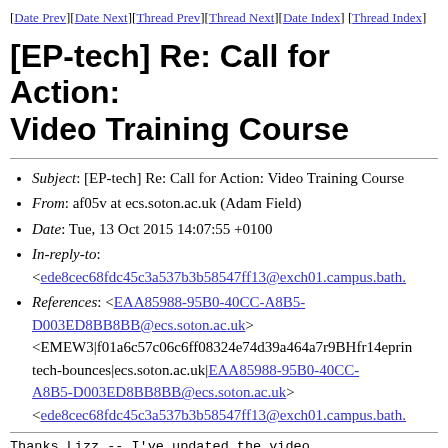[Date Prev][Date Next][Thread Prev][Thread Next][Date Index][Thread Index]
[EP-tech] Re: Call for Action: Video Training Course
Subject: [EP-tech] Re: Call for Action: Video Training Course
From: af05v at ecs.soton.ac.uk (Adam Field)
Date: Tue, 13 Oct 2015 14:07:55 +0100
In-reply-to: <ede8cec68fdc45c3a537b3b58547ff13@exch01.campus.bath.
References: <EAA85988-95B0-40CC-A8B5-D003ED8BB8BB@ecs.soton.ac.uk> <EMEW3|f01a6c57c06c6ff08324e74d39a464a7r9BHfr14eprint-tech-bounces|ecs.soton.ac.uk|EAA85988-95B0-40CC-A8B5-D003ED8BB8BB@ecs.soton.ac.uk> <ede8cec68fdc45c3a537b3b58547ff13@exch01.campus.bath.
Thanks Lizz -- I've updated the video.